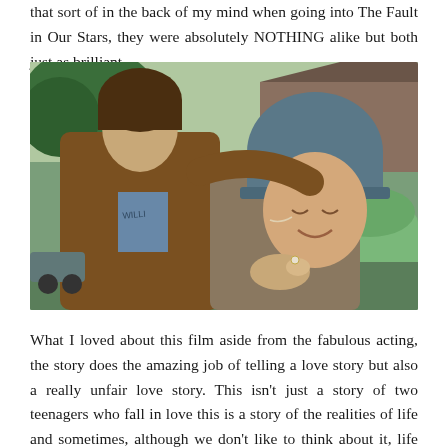that sort of in the back of my mind when going into The Fault in Our Stars, they were absolutely NOTHING alike but both just as brilliant.
[Figure (photo): A young man in a brown leather jacket leans close to a young woman wearing a grey knit beanie hat. The woman has her eyes closed and is smiling. They appear to be in an outdoor setting with greenery and a building visible in the background.]
What I loved about this film aside from the fabulous acting, the story does the amazing job of telling a love story but also a really unfair love story. This isn't just a story of two teenagers who fall in love this is a story of the realities of life and sometimes, although we don't like to think about it, life can be absolutely heartbreaking and tragic. We can